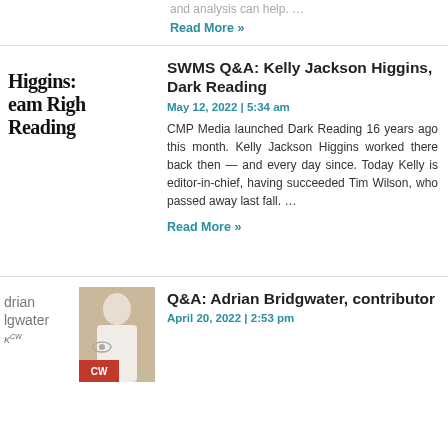and analysis can help. …
Read More »
[Figure (other): Thumbnail image with bold text: Higgins: eam Righ Reading]
SWMS Q&A: Kelly Jackson Higgins, Dark Reading
May 12, 2022 | 5:34 am
CMP Media launched Dark Reading 16 years ago this month. Kelly Jackson Higgins worked there back then — and every day since. Today Kelly is editor-in-chief, having succeeded Tim Wilson, who passed away last fall. …
Read More »
[Figure (other): Thumbnail with partial text: drian lgwater K and CW logo badge with photo of person]
Q&A: Adrian Bridgwater, contributor
April 20, 2022 | 2:53 pm